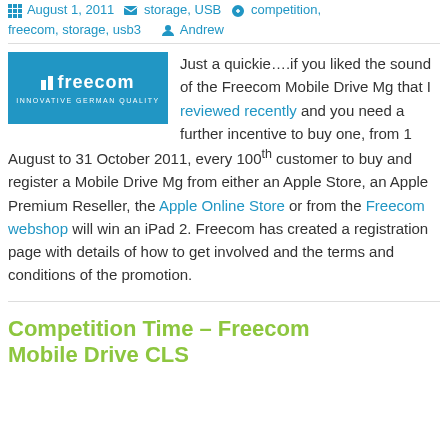August 1, 2011   storage, USB   competition, freecom, storage, usb3   Andrew
[Figure (logo): Freecom logo — white text on blue background reading 'II FREECOM' with tagline 'INNOVATIVE GERMAN QUALITY']
Just a quickie….if you liked the sound of the Freecom Mobile Drive Mg that I reviewed recently and you need a further incentive to buy one, from 1 August to 31 October 2011, every 100th customer to buy and register a Mobile Drive Mg from either an Apple Store, an Apple Premium Reseller, the Apple Online Store or from the Freecom webshop will win an iPad 2. Freecom has created a registration page with details of how to get involved and the terms and conditions of the promotion.
Competition Time – Freecom Mobile Drive CLS